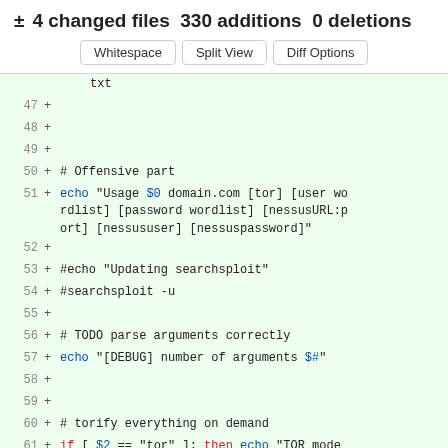± 4 changed files 330 additions 0 deletions
Whitespace  Split View  Diff Options
txt
47 +
48 +
49 +
50 + # Offensive part
51 + echo "Usage $0 domain.com [tor] [user wordlist] [password wordlist] [nessusURL:port] [nessususer] [nessuspassword]"
52 +
53 + #echo "Updating searchsploit"
54 + #searchsploit -u
55 +
56 + # TODO parse arguments correctly
57 + echo "[DEBUG] number of arguments $#"
58 +
59 +
60 + # torify everything on demand
61 + if [ $2 == "tor" ]; then echo "TOR mode